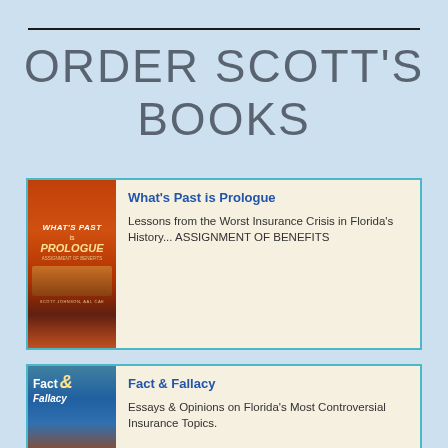ORDER SCOTT'S BOOKS
[Figure (photo): Book cover of 'What's Past is Prologue' by Scott Johnson, showing an orange/red sunset with a bridge silhouette]
What's Past is Prologue
Lessons from the Worst Insurance Crisis in Florida's History... ASSIGNMENT OF BENEFITS
[Figure (photo): Book cover of 'Fact & Fallacy' showing a pier/bridge over water]
Fact & Fallacy
Essays & Opinions on Florida's Most Controversial Insurance Topics.